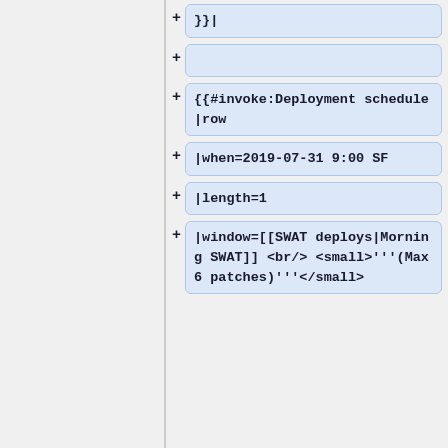}}|
{{#invoke:Deployment schedule|row
|when=2019-07-31 9:00 SF
|length=1
|window=[[SWAT deploys|Morning SWAT]] <br/> <small>'''(Max 6 patches)'''</small>